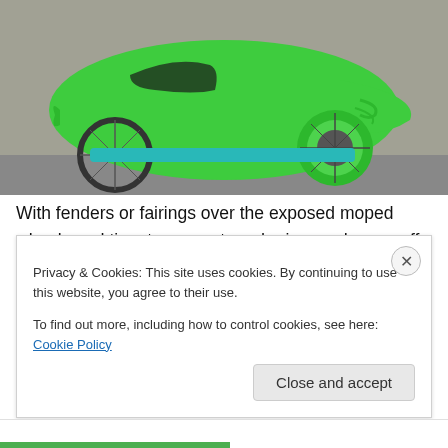[Figure (photo): A bright green streamlined velomobile (human-powered enclosed vehicle) with aerodynamic fairing covering the wheels, photographed on a street against a stone wall background.]
With fenders or fairings over the exposed moped wheels and tires to prevent road grime and spray off the tires when things get messy on those rare days it rains here in the Beautiful Suburbs of Hell. This would be both legal and
Privacy & Cookies: This site uses cookies. By continuing to use this website, you agree to their use.
To find out more, including how to control cookies, see here: Cookie Policy